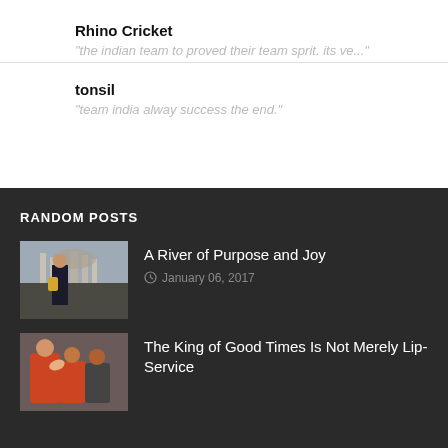Rhino Cricket
"the indian team to proved their team sprit. its ve..."
tonsil
"team india alway success the end."
RANDOM POSTS
A River of Purpose and Joy
January 06, 2017
[Figure (photo): Man in suit holding trophy in front of monument]
The King of Good Times Is Not Merely Lip-Service
[Figure (photo): Cricket players celebrating]